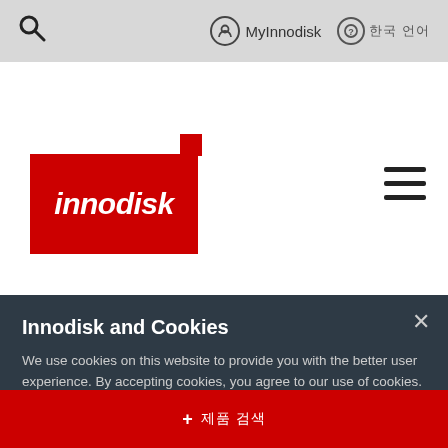MyInnodisk  한국어
[Figure (logo): Innodisk logo — white italic text on red background with small red square accent]
Innodisk and Cookies
We use cookies on this website to provide you with the better user experience. By accepting cookies, you agree to our use of cookies. For more information on how we use cookies, please see our Privacy Policy.
+ 제품 검색